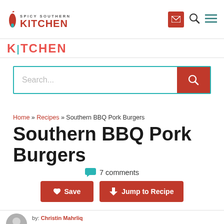SPICY SOUTHERN KITCHEN
[Figure (screenshot): Partial scrolled header showing KITCHEN text in red teal style]
[Figure (screenshot): Search bar with teal border and red search button]
Home » Recipes » Southern BBQ Pork Burgers
Southern BBQ Pork Burgers
7 comments
Save   Jump to Recipe
by: Christin Mahrliq
posted: 04.18.2016
This post may contain affiliate links. Please read my